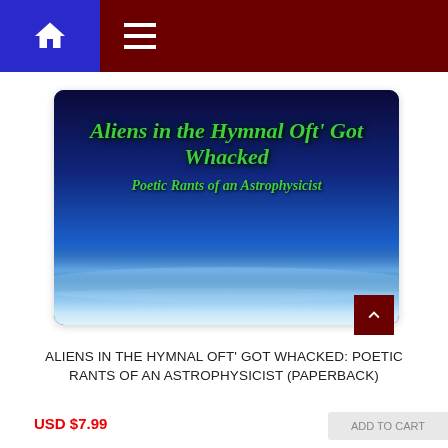Navigation bar with home icon and hamburger menu
[Figure (illustration): Book cover for 'Aliens in the Hymnal Oft' Got Whacked: Poetic Rants of an Astrophysicist' — dark blue sky gradient background with green italic bold title text and subtitle text]
ALIENS IN THE HYMNAL OFT' GOT WHACKED: POETIC RANTS OF AN ASTROPHYSICIST (PAPERBACK)
USD $7.99